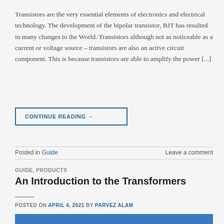Transistors are the very essential elements of electronics and electrical technology. The development of the bipolar transistor, BJT has resulted in many changes to the World. Transistors although not as noticeable as a current or voltage source – transistors are also an active circuit component. This is because transistors are able to amplify the power [...]
CONTINUE READING →
Posted in Guide    Leave a comment
GUIDE, PRODUCTS
An Introduction to the Transformers
POSTED ON APRIL 4, 2021 BY PARVEZ ALAM
[Figure (photo): Blue image strip at the bottom of the page, partially visible]